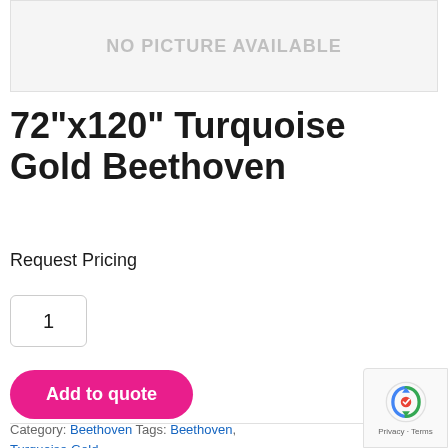[Figure (other): Product image placeholder box with text NO PICTURE AVAILABLE]
72"x120" Turquoise Gold Beethoven
Request Pricing
1
Add to quote
Category: Beethoven Tags: Beethoven, Turquoise Gold